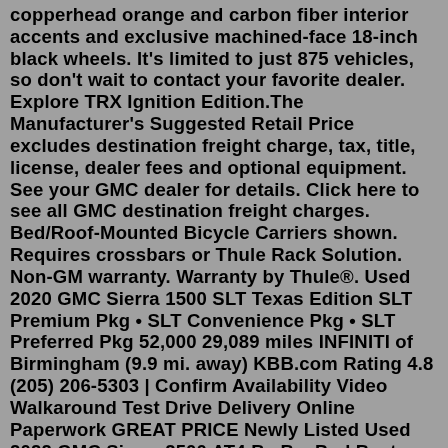copperhead orange and carbon fiber interior accents and exclusive machined-face 18-inch black wheels. It's limited to just 875 vehicles, so don't wait to contact your favorite dealer. Explore TRX Ignition Edition.The Manufacturer's Suggested Retail Price excludes destination freight charge, tax, title, license, dealer fees and optional equipment. See your GMC dealer for details. Click here to see all GMC destination freight charges. Bed/Roof-Mounted Bicycle Carriers shown. Requires crossbars or Thule Rack Solution. Non-GM warranty. Warranty by Thule®. Used 2020 GMC Sierra 1500 SLT Texas Edition SLT Premium Pkg • SLT Convenience Pkg • SLT Preferred Pkg 52,000 29,089 miles INFINITI of Birmingham (9.9 mi. away) KBB.com Rating 4.8 (205) 206-5303 | Confirm Availability Video Walkaround Test Drive Delivery Online Paperwork GREAT PRICE Newly Listed Used 2022 GMC Sierra 2500 AT4 By BayParkBest. From $1.39. 87 Regal Sticker. By ThornyroseShop. From $1.29. 1950 Buick "Fireball" Straight-Eight Engine Sticker. By Michael